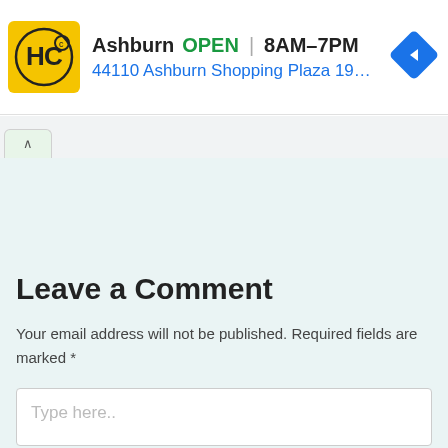[Figure (screenshot): Ad banner for Hairclub (HC) in Ashburn showing yellow logo, OPEN status, hours 8AM-7PM, address 44110 Ashburn Shopping Plaza 190, A..., and blue navigation diamond icon]
Leave a Comment
Your email address will not be published. Required fields are marked *
Type here..